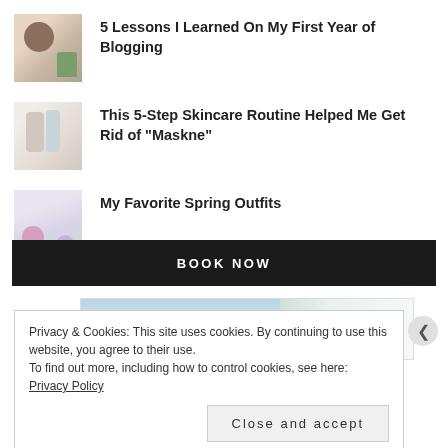5 Lessons I Learned On My First Year of Blogging
This 5-Step Skincare Routine Helped Me Get Rid of "Maskne"
My Favorite Spring Outfits
[Figure (other): BOOK NOW black button banner]
[Figure (other): Agoda travel booking advertisement banner with scenic background]
Privacy & Cookies: This site uses cookies. By continuing to use this website, you agree to their use.
To find out more, including how to control cookies, see here: Privacy Policy
Close and accept